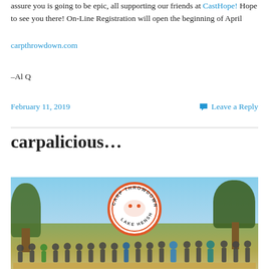assure you is going to be epic, all supporting our friends at CastHope! Hope to see you there! On-Line Registration will open the beginning of April
carpthrowdown.com
–Al Q
February 11, 2019
Leave a Reply
carpalicious…
[Figure (photo): Group photo of fishing event participants standing outdoors with trees and blue sky in background. Carp Throwdown Lake Henshaw logo circle visible at top center of image.]